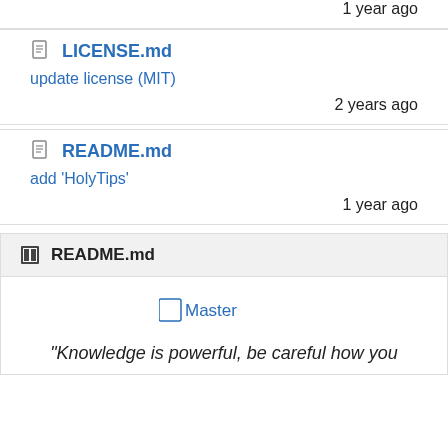1 year ago
LICENSE.md
update license (MIT)
2 years ago
README.md
add 'HolyTips'
1 year ago
README.md
[Figure (other): Broken image placeholder with link text 'Master']
"Knowledge is powerful, be careful how you